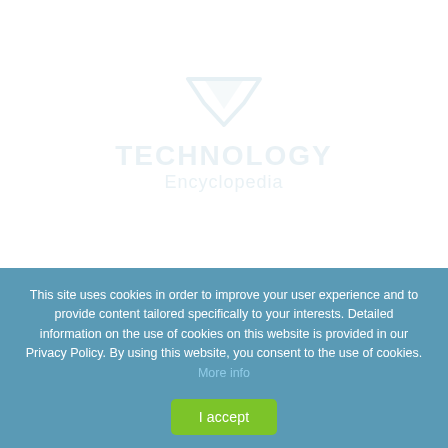[Figure (logo): Faint watermark logo with a downward-pointing arrow/chevron icon above stylized text reading 'TECHNOLOGY' and 'Encyclopedia' in light blue, very low opacity]
This site uses cookies in order to improve your user experience and to provide content tailored specifically to your interests. Detailed information on the use of cookies on this website is provided in our Privacy Policy. By using this website, you consent to the use of cookies. More info
I accept